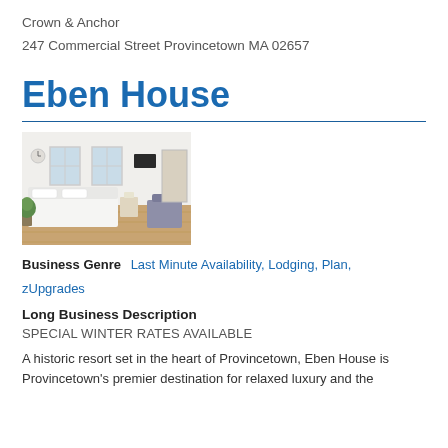Crown & Anchor
247 Commercial Street Provincetown MA 02657
Eben House
[Figure (photo): Hotel room interior with white bedding, wooden floors, and bright windows]
Business Genre   Last Minute Availability, Lodging, Plan, zUpgrades
Long Business Description
SPECIAL WINTER RATES AVAILABLE
A historic resort set in the heart of Provincetown, Eben House is Provincetown's premier destination for relaxed luxury and the